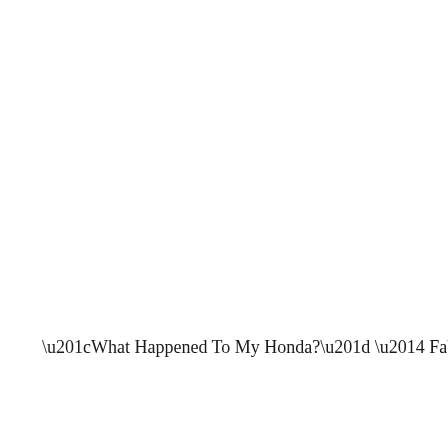“What Happened To My Honda?” — Fabienne